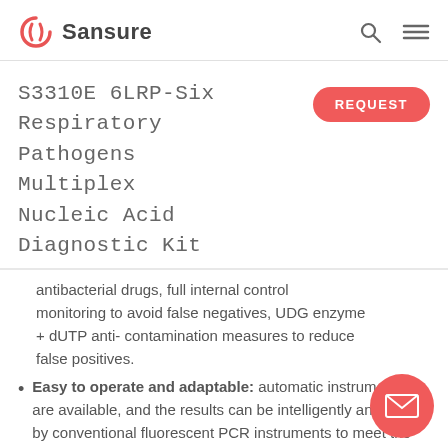Sansure
S3310E 6LRP-Six Respiratory Pathogens Multiplex Nucleic Acid Diagnostic Kit
antibacterial drugs, full internal control monitoring to avoid false negatives, UDG enzyme + dUTP anti- contamination measures to reduce false positives.
Easy to operate and adaptable: automatic instruments are available, and the results can be intelligently analyzed by conventional fluorescent PCR instruments to meet the needs of medical laboratories , clinical Institutions, emergency and primary care etc.